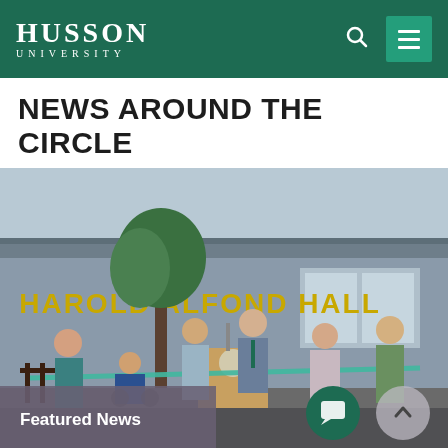Husson University
NEWS AROUND THE CIRCLE
[Figure (photo): Ribbon cutting ceremony in front of Harold Alfond Hall at Husson University. Several people stand outside the building holding a teal ribbon while a man at a podium prepares to cut it. A person in a wheelchair is included in the group. The building name 'Harold Alfond Hall' is visible in gold letters.]
Featured News